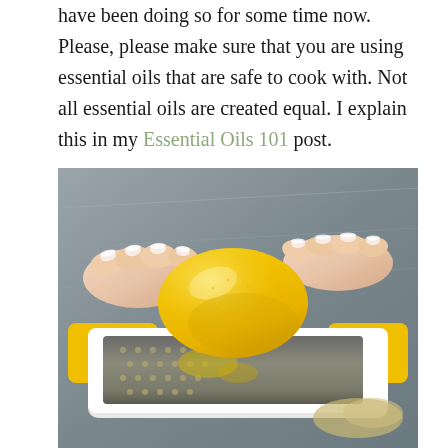have been doing so for some time now. Please, please make sure that you are using essential oils that are safe to cook with. Not all essential oils are created equal. I explain this in my Essential Oils 101 post.
[Figure (photo): Hands holding a lemon being zested on a stainless steel grater with a white and yellow handle, with lemon zest visible on the grater surface.]